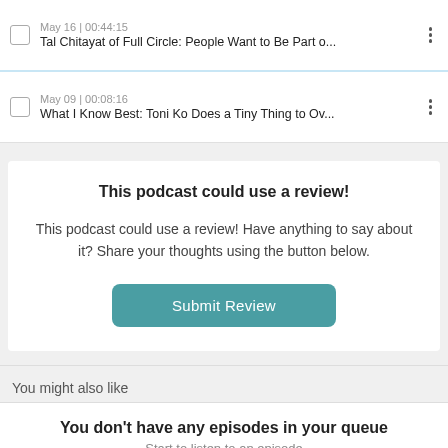May 16 | 00:44:15
Tal Chitayat of Full Circle: People Want to Be Part o...
May 09 | 00:08:16
What I Know Best: Toni Ko Does a Tiny Thing to Ov...
This podcast could use a review!
This podcast could use a review! Have anything to say about it? Share your thoughts using the button below.
Submit Review
You might also like
You don't have any episodes in your queue
Start to listen to an episode